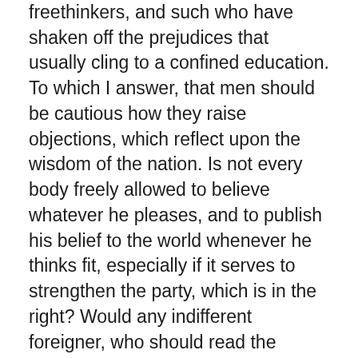freethinkers, and such who have shaken off the prejudices that usually cling to a confined education. To which I answer, that men should be cautious how they raise objections, which reflect upon the wisdom of the nation. Is not every body freely allowed to believe whatever he pleases, and to publish his belief to the world whenever he thinks fit, especially if it serves to strengthen the party, which is in the right? Would any indifferent foreigner, who should read the trumpery lately written by Asgil, Tindal, Toland, Coward, and forty more, imagine the Gospel to be our rule of faith, and confirmed by parliaments? Does any man either believe, or say he believes, or desire to have it thought that he says he believes, one syllable of the matter? And is any man worse received upon that score, or does he find his want of nominal faith a disadvantage to him, in the pursuit of any civil or military employment? What if there be an old dormant statute or two against him, are they not now obsolete to a degree, that Empson and